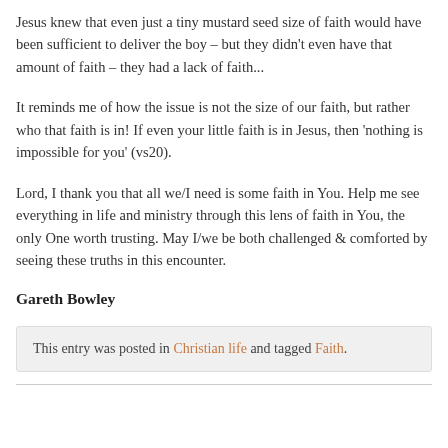mandate He had given them to go and heal and deliver people in His name.
Jesus knew that even just a tiny mustard seed size of faith would have been sufficient to deliver the boy – but they didn't even have that amount of faith – they had a lack of faith...
It reminds me of how the issue is not the size of our faith, but rather who that faith is in! If even your little faith is in Jesus, then 'nothing is impossible for you' (vs20).
Lord, I thank you that all we/I need is some faith in You. Help me see everything in life and ministry through this lens of faith in You, the only One worth trusting. May I/we be both challenged & comforted by seeing these truths in this encounter.
Gareth Bowley
This entry was posted in Christian life and tagged Faith.